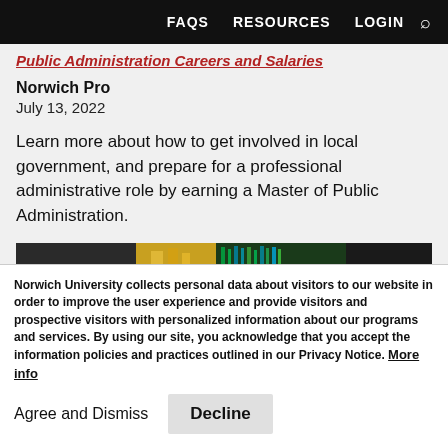FAQS   RESOURCES   LOGIN   🔍
Public Administration Careers and Salaries
Norwich Pro
July 13, 2022
Learn more about how to get involved in local government, and prepare for a professional administrative role by earning a Master of Public Administration.
[Figure (photo): Banner image showing industrial/technical equipment with cables and machinery. Contains an 'Article' label overlay in white box at bottom-left.]
Norwich University collects personal data about visitors to our website in order to improve the user experience and provide visitors and prospective visitors with personalized information about our programs and services. By using our site, you acknowledge that you accept the information policies and practices outlined in our Privacy Notice. More info
Agree and Dismiss   Decline